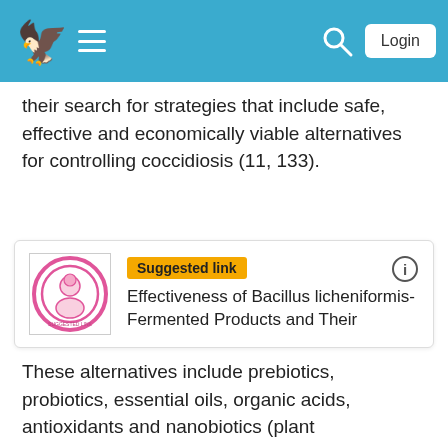e [logo] ≡ [menu] [search] Login
their search for strategies that include safe, effective and economically viable alternatives for controlling coccidiosis (11, 133).
[Figure (other): Suggested link card with a circular logo image on left, a yellow 'Suggested link' badge, and title 'Effectiveness of Bacillus licheniformis-Fermented Products and Their']
These alternatives include prebiotics, probiotics, essential oils, organic acids, antioxidants and nanobiotics (plant nanoparticles that have been used as antibacterial agents) (81, 135). Many of these compounds are used as dietary